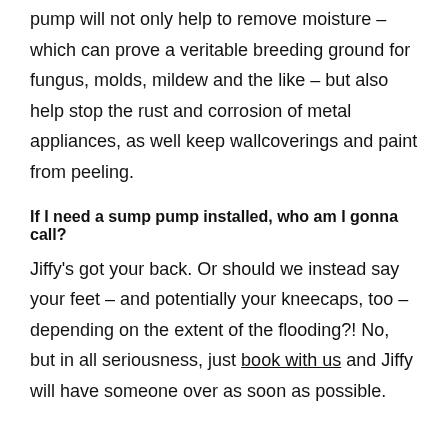pump will not only help to remove moisture – which can prove a veritable breeding ground for fungus, molds, mildew and the like – but also help stop the rust and corrosion of metal appliances, as well keep wallcoverings and paint from peeling.
If I need a sump pump installed, who am I gonna call?
Jiffy's got your back. Or should we instead say your feet – and potentially your kneecaps, too – depending on the extent of the flooding?! No, but in all seriousness, just book with us and Jiffy will have someone over as soon as possible.